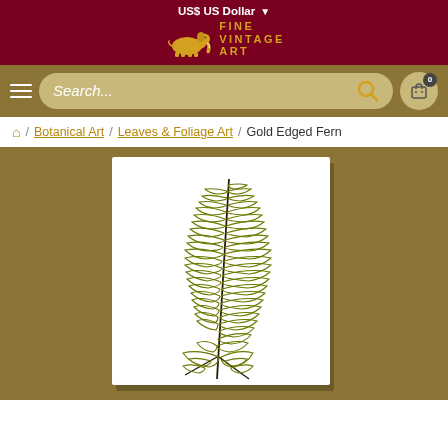US$ US Dollar
[Figure (logo): Fine Vintage Art logo with golden elephant silhouette and text FINE VINTAGE ART on dark red background]
Search...
0
/ Botanical Art / Leaves & Foliage Art / Gold Edged Fern
[Figure (illustration): Botanical illustration of a gold-edged fern frond with detailed pinnate leaves on a white card background, shown on a gold/khaki background]